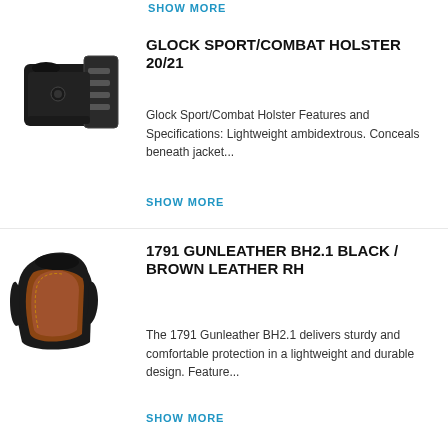SHOW MORE
GLOCK SPORT/COMBAT HOLSTER 20/21
[Figure (photo): Black polymer Glock Sport/Combat Holster with mounting hardware]
Glock Sport/Combat Holster Features and Specifications:  Lightweight ambidextrous. Conceals beneath jacket...
SHOW MORE
1791 GUNLEATHER BH2.1 BLACK / BROWN LEATHER RH
[Figure (photo): Black and brown leather 1791 Gunleather BH2.1 holster]
The 1791 Gunleather BH2.1 delivers sturdy and comfortable protection in a lightweight and durable design. Feature...
SHOW MORE